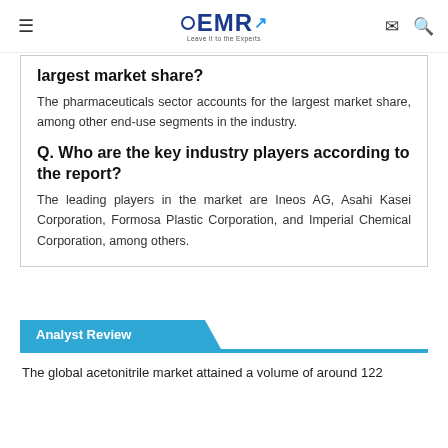EMR — Leave it to the Experts
largest market share?
The pharmaceuticals sector accounts for the largest market share, among other end-use segments in the industry.
Q. Who are the key industry players according to the report?
The leading players in the market are Ineos AG, Asahi Kasei Corporation, Formosa Plastic Corporation, and Imperial Chemical Corporation, among others.
Analyst Review
The global acetonitrile market attained a volume of around 122